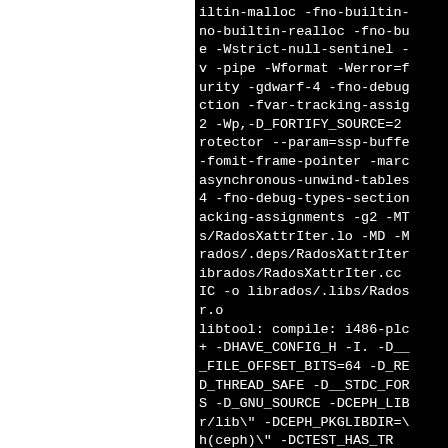iltin-malloc -fno-builtin-no-builtin-realloc -fno-bue -Wstrict-null-sentinel -v -pipe -Wformat -Werror=furity -gdwarf-4 -fno-debugction -fvar-tracking-assi2 -Wp,-D_FORTIFY_SOURCE=2rotector --param=ssp-buffe-fomit-frame-pointer -mardasynchronous-unwind-tables4 -fno-debug-types-sectionacking-assignments -g2 -MTs/RadosXattrIter.lo -MD -Mrados/.deps/RadosXattrIteibrados/RadosXattrIter.cc IC -o librados/.libs/Radosr.o
libtool: compile: i486-plc+ -DHAVE_CONFIG_H -I. -D__FILE_OFFSET_BITS=64 -D_RED_THREAD_SAFE -D__STDC_FORS -D_GNU_SOURCE -DCEPH_LIBr/lib" -DCEPH_PKGLIBDIR=\h(ceph)" -DCTEST_HAS_TR